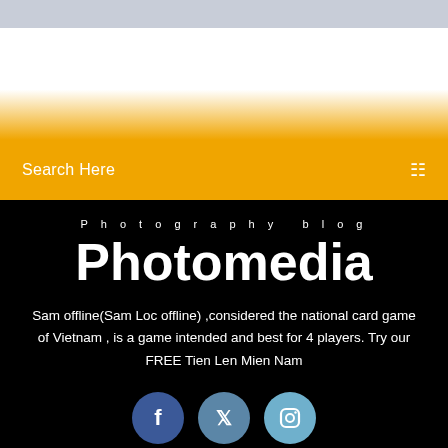[Figure (screenshot): Top banner area with light gray and yellow-orange gradient background]
Search Here
Photography blog
Photomedia
Sam offline(Sam Loc offline) ,considered the national card game of Vietnam , is a game intended and best for 4 players. Try our FREE Tien Len Mien Nam
[Figure (illustration): Social media icons: Facebook (f), Twitter (bird), Instagram (camera)]